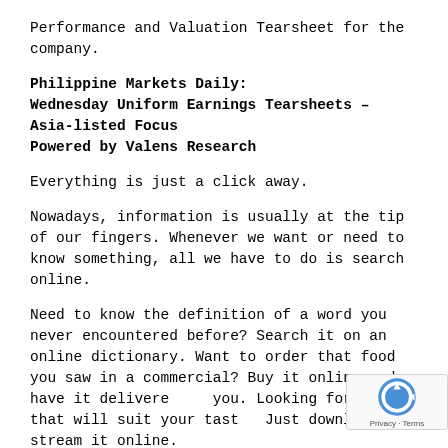Performance and Valuation Tearsheet for the company.
Philippine Markets Daily:
Wednesday Uniform Earnings Tearsheets – Asia-listed Focus
Powered by Valens Research
Everything is just a click away.
Nowadays, information is usually at the tip of our fingers. Whenever we want or need to know something, all we have to do is search online.
Need to know the definition of a word you never encountered before? Search it on an online dictionary. Want to order that food you saw in a commercial? Buy it online and have it delivered to you. Looking for movies that will suit your taste? Just download or stream it online.